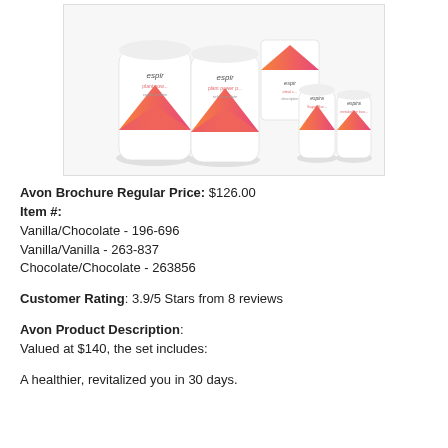[Figure (photo): Photo of Espira by Avon product set including two large protein powder containers (vanilla and chocolate flavors), one box, and two small supplement bottles, all with orange/pink gradient branding on white background.]
Avon Brochure Regular Price: $126.00
Item #:
Vanilla/Chocolate - 196-696
Vanilla/Vanilla - 263-837
Chocolate/Chocolate - 263856
Customer Rating: 3.9/5 Stars from 8 reviews
Avon Product Description:
Valued at $140, the set includes:
A healthier, revitalized you in 30 days.